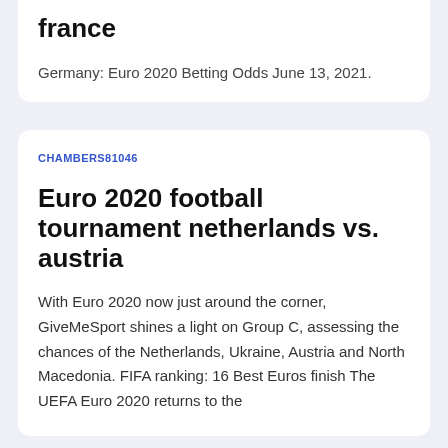france
Germany: Euro 2020 Betting Odds June 13, 2021.
CHAMBERS81046
Euro 2020 football tournament netherlands vs. austria
With Euro 2020 now just around the corner, GiveMeSport shines a light on Group C, assessing the chances of the Netherlands, Ukraine, Austria and North Macedonia. FIFA ranking: 16 Best Euros finish The UEFA Euro 2020 returns to the